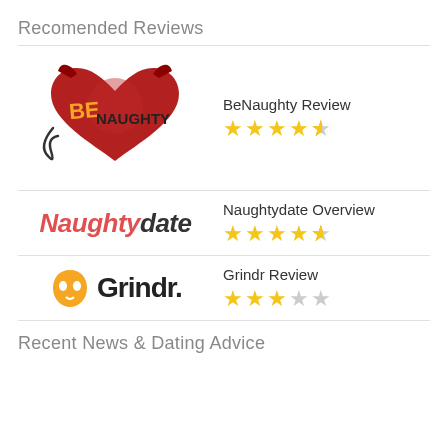Recomended Reviews
[Figure (logo): BeNaughty logo — devil heart with BE NAUGHTY text]
BeNaughty Review ★★★★½
[Figure (logo): Naughtydate logo — Naughty in red italic, date in dark italic]
Naughtydate Overview ★★★★½
[Figure (logo): Grindr logo — yellow mask icon and Grindr wordmark]
Grindr Review ★★★☆☆
Recent News & Dating Advice